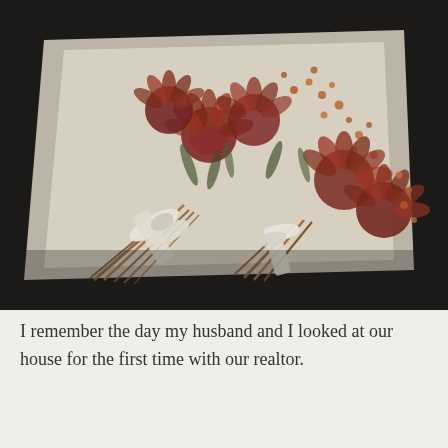[Figure (photo): A photograph of dried wedding bouquets with deep red and rust-colored flowers tied with white ribbon, laid on white tissue paper against a dark background.]
I remember the day my husband and I looked at our house for the first time with our realtor.